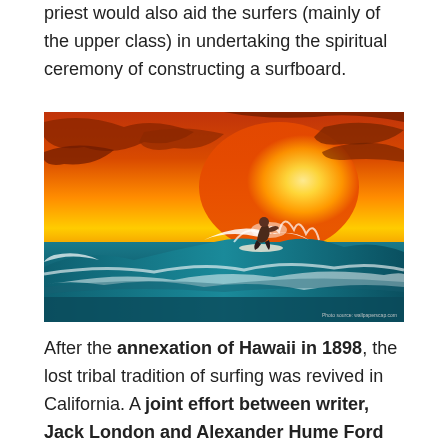priest would also aid the surfers (mainly of the upper class) in undertaking the spiritual ceremony of constructing a surfboard.
[Figure (photo): A surfer riding a large wave at sunset. The sky is vivid orange and yellow with dramatic clouds. The ocean wave is deep teal/blue with white foam. The surfer is silhouetted against the bright sunset background. Photo source watermark visible in bottom right corner.]
After the annexation of Hawaii in 1898, the lost tribal tradition of surfing was revived in California. A joint effort between writer, Jack London and Alexander Hume Ford